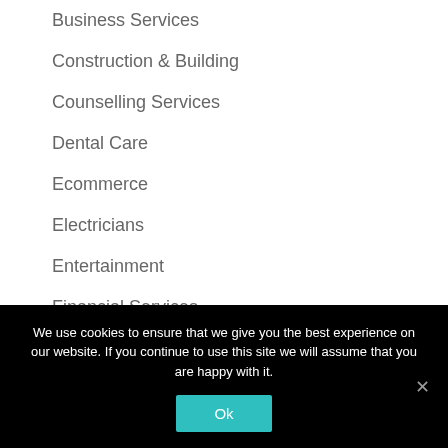Business Services
Construction & Building
Counselling Services
Dental Care
Ecommerce
Electricians
Entertainment
Financial Services
Fitness & Sports
We use cookies to ensure that we give you the best experience on our website. If you continue to use this site we will assume that you are happy with it.
Ok